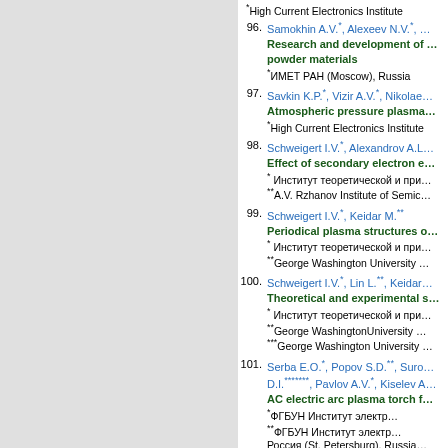High Current Electronics Institute (top, cut off)
96. Samokhin A.V.*, Alexeev N.V.*,  … Research and development of … powder materials
* ИМЕТ РАН (Moscow), Russia
97. Savkin K.P.*, Vizir A.V.*, Nikolae…
Atmospheric pressure plasma …
* High Current Electronics Institute
98. Schweigert I.V.*, Alexandrov A.L…
Effect of secondary electron e…
* Институт теоретической и при…
** A.V. Rzhanov Institute of Semic…
99. Schweigert I.V.*, Keidar M.**
Periodical plasma structures o…
* Институт теоретической и при…
** George Washington University …
100. Schweigert I.V.*, Lin L.**, Keidar…
Theoretical and experimental s…
* Институт теоретической и при…
** George WashingtonUniversity …
*** George Washington University …
101. Serba E.O.*, Popov S.D.**, Suro… D.I.*******, Pavlov A.V.*, Kiselev A…
AC electric arc plasma torch f…
* ФГБУН Институт электр…
** ФГБУН Институт электр…
Россия (St. Petersburg), Russia…